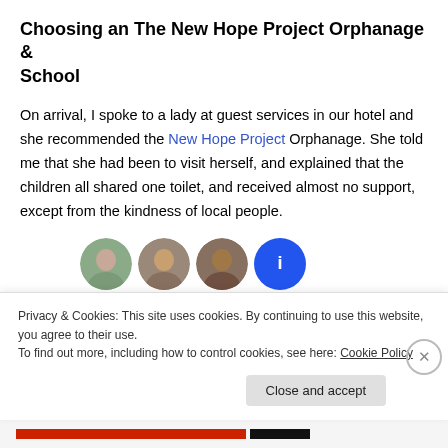Choosing an The New Hope Project Orphanage & School
On arrival, I spoke to a lady at guest services in our hotel and she recommended the New Hope Project Orphanage. She told me that she had been to visit herself, and explained that the children all shared one toilet, and received almost no support, except from the kindness of local people.
[Figure (photo): Row of four circular avatar/profile photos partially visible at bottom of main content area — three photo avatars and one blue circle with info icon]
Privacy & Cookies: This site uses cookies. By continuing to use this website, you agree to their use.
To find out more, including how to control cookies, see here: Cookie Policy
Close and accept